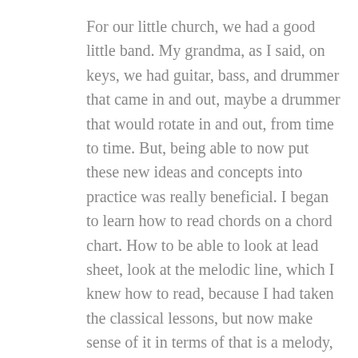For our little church, we had a good little band. My grandma, as I said, on keys, we had guitar, bass, and drummer that came in and out, maybe a drummer that would rotate in and out, from time to time. But, being able to now put these new ideas and concepts into practice was really beneficial. I began to learn how to read chords on a chord chart. How to be able to look at lead sheet, look at the melodic line, which I knew how to read, because I had taken the classical lessons, but now make sense of it in terms of that is a melody, and I am going to harmonize it with chords, and make it sound more full, and complete. Make it sound like music. That was a great learning experience for me, getting to play with that band.